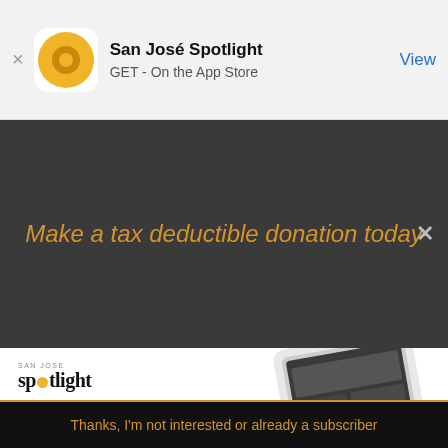San José Spotlight
GET - On the App Store
Make a tax deductible donation today
[Figure (logo): San José Spotlight logo with circular icon]
Where San Jose locals start the day.
sanjosespotlight.com
EMAIL ADDRESS
SUBSCRIBE
Thanks, I'm not interested or already a subscriber